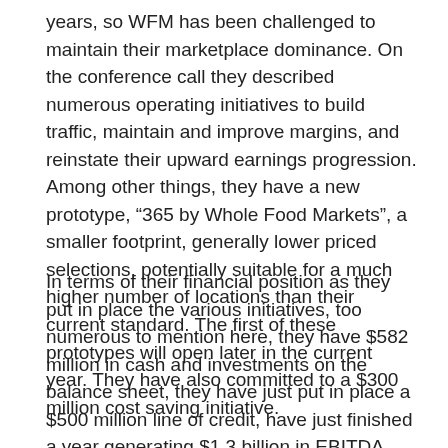years, so WFM has been challenged to maintain their marketplace dominance. On the conference call they described numerous operating initiatives to build traffic, maintain and improve margins, and reinstate their upward earnings progression. Among other things, they have a new prototype, “365 by Whole Food Markets”, a smaller footprint, generally lower priced selections, potentially suitable for a much higher number of locations than their current standard. The first of these prototypes will open later in the current year. They have also committed to a $300 million cost saving initiative.
In terms of their financial position as they put in place the various initiatives, too numerous to mention here, they have $582 million in cash and investments on the balance sheet, they have just put in place a $500 million line of credit, have just finished a year generating $1.3 billion in EBITDA, which is not expected to decline materially, even under the worst of scenarios.